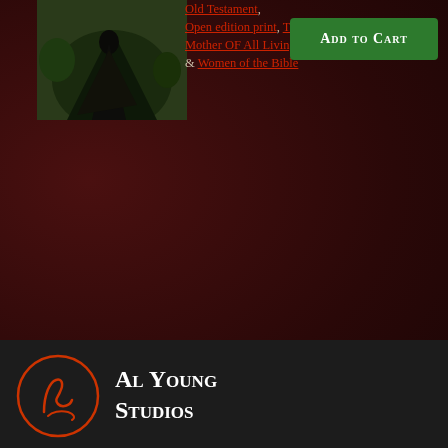[Figure (photo): Product image showing a robed figure or religious scene against a dark green/brown natural background]
Old Testament, Open edition print, The Mother OF All Living & Women of the Bible
[Figure (other): Add to Cart button (green button)]
Ships to US (including APO, FPO & DPO) and Worldwide. Economy, Priority, & Local pickup shipping options are available at checkout. Bulk discounts available when buying 10
[Figure (logo): Al Young Studios logo - circular logo with cursive letter and text reading Al Young Studios]